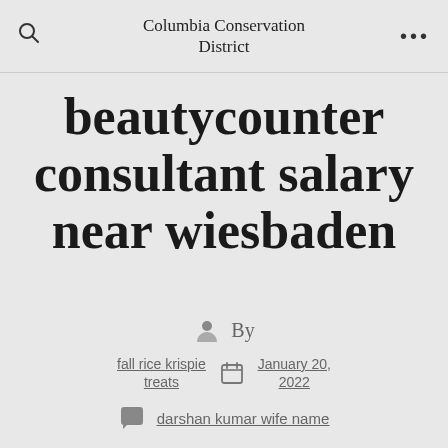Columbia Conservation District
beautycounter consultant salary near wiesbaden
By
fall rice krispie treats  January 20, 2022
darshan kumar wife name